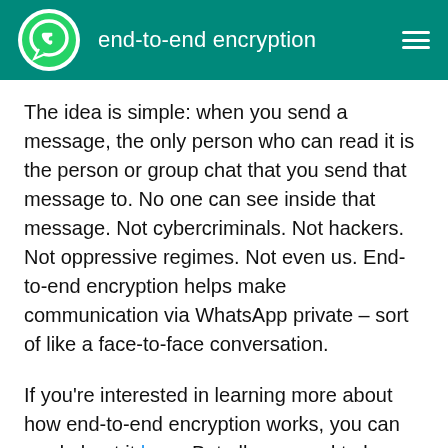end-to-end encryption
The idea is simple: when you send a message, the only person who can read it is the person or group chat that you send that message to. No one can see inside that message. Not cybercriminals. Not hackers. Not oppressive regimes. Not even us. End-to-end encryption helps make communication via WhatsApp private – sort of like a face-to-face conversation.
If you're interested in learning more about how end-to-end encryption works, you can read about it here. But all you need to know is that end-to-end encrypted messages can only be read by the recipients you intend. And if you're using the latest version of WhatsApp, you don't have to do a thing